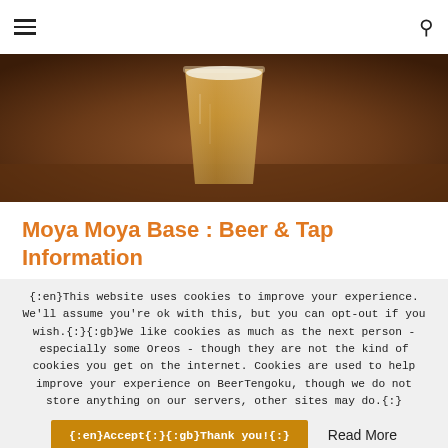≡  🔍
[Figure (photo): A close-up photo of a glass of beer on a wooden surface, amber/golden colored beer with a dark brown background.]
Moya Moya Base : Beer & Tap Information
{:en}This website uses cookies to improve your experience. We'll assume you're ok with this, but you can opt-out if you wish.{:}{:gb}We like cookies as much as the next person - especially some Oreos - though they are not the kind of cookies you get on the internet. Cookies are used to help improve your experience on BeerTengoku, though we do not store anything on our servers, other sites may do.{:}
{:en}Accept{:}{:gb}Thank you!{:}   Read More